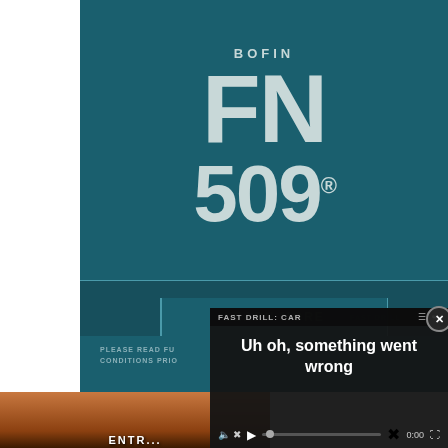[Figure (logo): FN 509 brand logo on teal/dark teal background. Shows 'FN' in large bold letters and '509®' below, with 'BOFIN' text above in smaller letters. Light grey/cream colored text on dark teal background.]
LEARN MORE
PLEASE READ FU... CONDITIONS PRIO...
[Figure (screenshot): Video player overlay showing error message 'FAST DRILL: CAR - Uh oh, something went wrong' on dark background with video controls (mute, play, progress bar, timestamp 0:00, fullscreen). Close button (X) in top right of overlay.]
[Figure (photo): Partial photo of an animal (cat or similar) paws/legs on an orange pumpkin, with text below partially visible.]